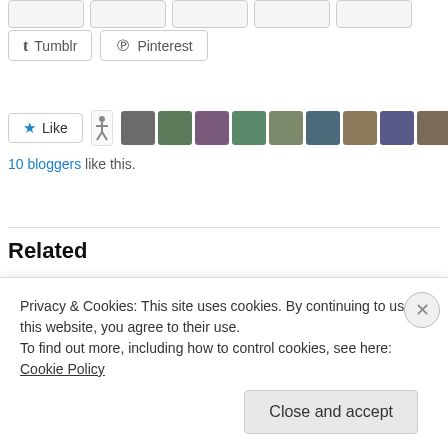[Figure (screenshot): Row of partial social share buttons cut off at top]
Tumblr
Pinterest
[Figure (infographic): Like button with star icon followed by avatar strip of 10 bloggers]
10 bloggers like this.
Related
NEVER GIVE UP WRITING
April 15, 2013
In "motivation"
7 REASONS WHY I KEEP A JOURNAL
August 7, 2013
Privacy & Cookies: This site uses cookies. By continuing to use this website, you agree to their use.
To find out more, including how to control cookies, see here: Cookie Policy
Close and accept